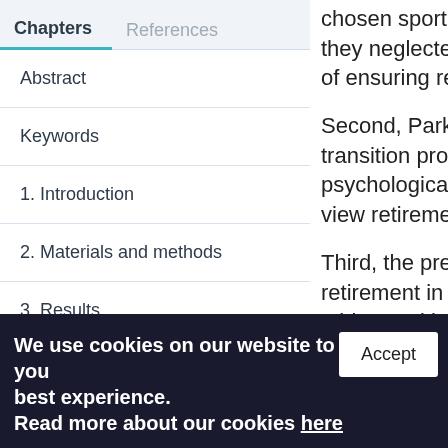Chapters	References
Abstract
Keywords
1. Introduction
2. Materials and methods
3. Results
4. Discussion
5. Conclusions
chosen sport for they neglected a of ensuring retire
Second, Park and transition proces psychological ef view retirement
Third, the pres retirement in t athletes with d adjust to an en
We use cookies on our website to ensure you best experience.
Read more about our cookies here